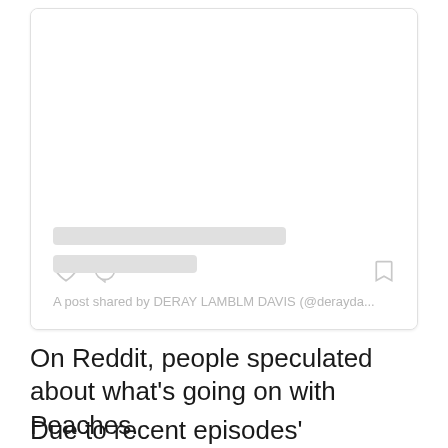[Figure (screenshot): A social media post card (Instagram embed) in a loading/skeleton state. Shows a heart icon, comment icon, and bookmark icon. Two gray skeleton placeholder lines are shown for text. At the bottom: 'A post shared by DERAY LAMBLM DAVIS (@derayda...']
A post shared by DERAY LAMBLM DAVIS (@derayda...
On Reddit, people speculated about what’s going on with Peaches.
Due to recent episodes’ symptoms, the majority of viewers believe Peaches has